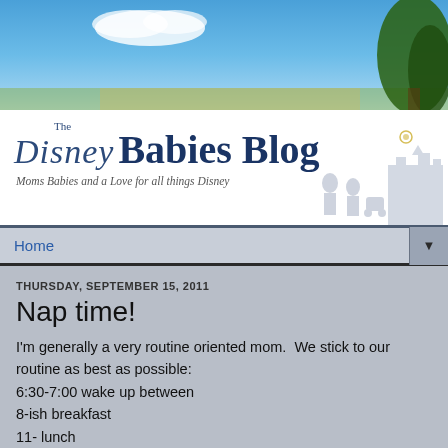[Figure (illustration): Blue sky with white clouds and green tree on right side — blog banner background]
The Disney Babies Blog — Moms Babies and a Love for all things Disney
Home
THURSDAY, SEPTEMBER 15, 2011
Nap time!
I'm generally a very routine oriented mom.  We stick to our routine as best as possible:
6:30-7:00 wake up between
8-ish breakfast
11- lunch
12-2 - nap (or quiet time, if need he's being stubborn)
5:30 - dinner